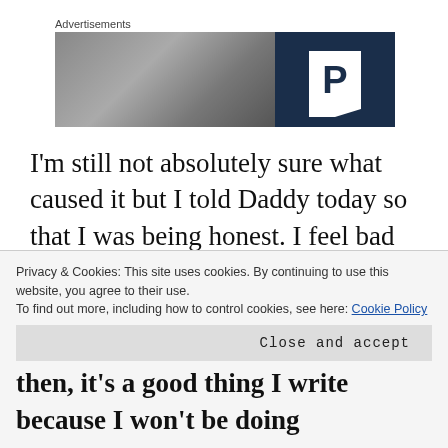Advertisements
[Figure (photo): Advertisement banner with a blurry outdoor/building photo on the left and a dark navy blue panel on the right with a white box containing a bold letter P]
I'm still not absolutely sure what caused it but I told Daddy today so that I was being honest. I feel bad because I know it was just play and I don't want to worry him. We are both completely committed to our play and I don't want a temporary issue to get in the
Privacy & Cookies: This site uses cookies. By continuing to use this website, you agree to their use.
To find out more, including how to control cookies, see here: Cookie Policy
Close and accept
then, it's a good thing I write because I won't be doing